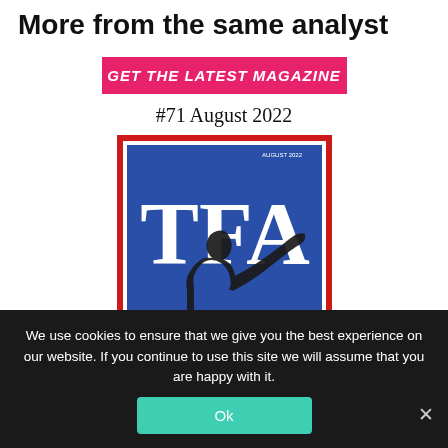More from the same analyst
GET THE LATEST MAGAZINE
#71 August 2022
[Figure (illustration): Magazine cover with red border, blue background, large white letters 'TFA', and a dark silhouette of a person pointing with one arm raised. Small text in upper right reads 'AUGUST 2022'.]
We use cookies to ensure that we give you the best experience on our website. If you continue to use this site we will assume that you are happy with it.
Ok